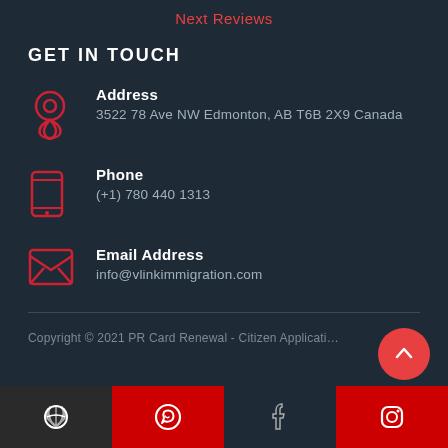Next Reviews
GET IN TOUCH
Address
3522 78 Ave NW Edmonton, AB T6B 2X9 Canada
Phone
(+1) 780 440 1313
Email Address
info@vlinkimmigration.com
Copyright © 2021 PR Card Renewal - Citizen Applicati…